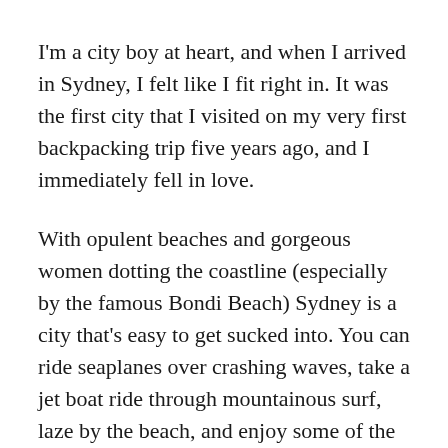I'm a city boy at heart, and when I arrived in Sydney, I felt like I fit right in. It was the first city that I visited on my very first backpacking trip five years ago, and I immediately fell in love.
With opulent beaches and gorgeous women dotting the coastline (especially by the famous Bondi Beach) Sydney is a city that's easy to get sucked into. You can ride seaplanes over crashing waves, take a jet boat ride through mountainous surf, laze by the beach, and enjoy some of the best nightlife in all of the...